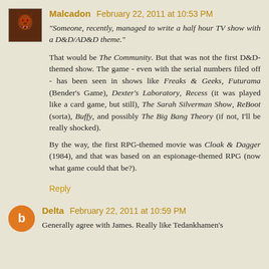Malcadon  February 22, 2011 at 10:53 PM
"Someone, recently, managed to write a half hour TV show with a D&D/AD&D theme."
That would be The Community. But that was not the first D&D-themed show. The game - even with the serial numbers filed off - has been seen in shows like Freaks & Geeks, Futurama (Bender's Game), Dexter's Laboratory, Recess (it was played like a card game, but still), The Sarah Silverman Show, ReBoot (sorta), Buffy, and possibly The Big Bang Theory (if not, I'll be really shocked).
By the way, the first RPG-themed movie was Cloak & Dagger (1984), and that was based on an espionage-themed RPG (now what game could that be?).
Reply
Delta  February 22, 2011 at 10:59 PM
Generally agree with James. Really like Tedankhamen's